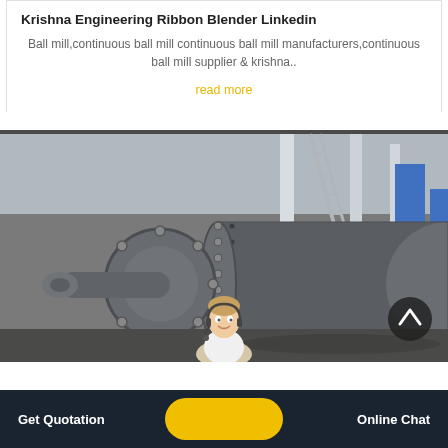Krishna Engineering Ribbon Blender LinkedIn
Ball mill,continuous ball mill continuous ball mill manufacturers,continuous ball mill supplier & krishna..
read more
[Figure (photo): Industrial ball mill machine photographed in a factory setting, showing the cylindrical grinding drum with bolted flanges and inlet/outlet end caps, mounted on a frame inside a large industrial facility.]
Get Quotation   Online Chat